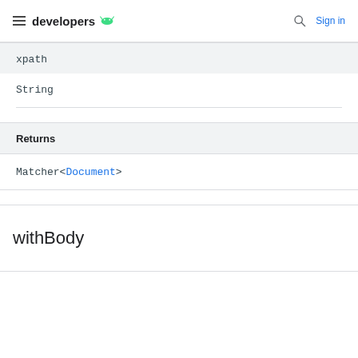developers | Sign in
xpath
String
Returns
Matcher<Document>
withBody